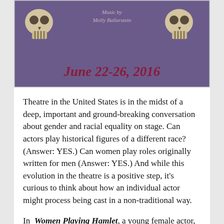[Figure (illustration): Purple background poster with two skull illustrations on either side, italic text 'Music by Molly Ballerstein' in light pink, and bold dark red text 'June 22-26, 2016' at the bottom]
Theatre in the United States is in the midst of a deep, important and ground-breaking conversation about gender and racial equality on stage. Can actors play historical figures of a different race? (Answer: YES.) Can women play roles originally written for men (Answer: YES.) And while this evolution in the theatre is a positive step, it's curious to think about how an individual actor might process being cast in a non-traditional way.
In Women Playing Hamlet, a young female actor, Jessica, is cast as Hamlet. The rehearsal process leads to a breakdown of sorts with a brutal and and hysterically funny examination of Jessica's life as Midwestern Millennial